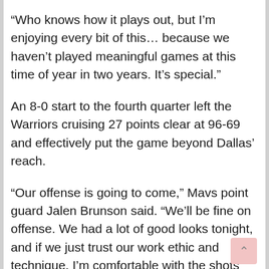“Who knows how it plays out, but I’m enjoying every bit of this… because we haven’t played meaningful games at this time of year in two years. It’s special.”
An 8-0 start to the fourth quarter left the Warriors cruising 27 points clear at 96-69 and effectively put the game beyond Dallas’ reach.
“Our offense is going to come,” Mavs point guard Jalen Brunson said. “We’ll be fine on offense. We had a lot of good looks tonight, and if we just trust our work ethic and technique, I’m comfortable with the shots we got tonight.”
Game 2 of the best-of-seven series is scheduled for Friday in San Francisco.